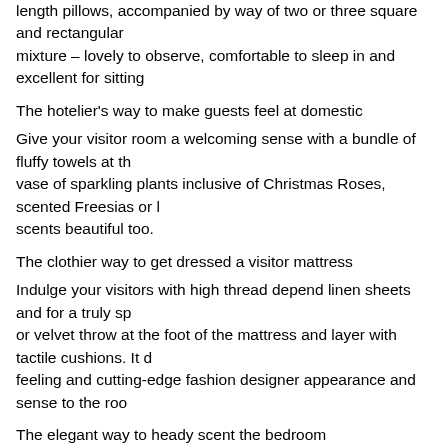length pillows, accompanied by way of two or three square and rectangular mixture – lovely to observe, comfortable to sleep in and excellent for sitting
The hotelier's way to make guests feel at domestic
Give your visitor room a welcoming sense with a bundle of fluffy towels at th vase of sparkling plants inclusive of Christmas Roses, scented Freesias or l scents beautiful too.
The clothier way to get dressed a visitor mattress
Indulge your visitors with high thread depend linen sheets and for a truly sp or velvet throw at the foot of the mattress and layer with tactile cushions. It feeling and cutting-edge fashion designer appearance and sense to the roo
The elegant way to heady scent the bedroom
Spritz bedlinen with lavender water while ironing. The subtle perfume smells relaxing night time's sleep. A scented candle by using Jo Malone or Diptyqu touch.
The stylish way to create the 'all white' mattress